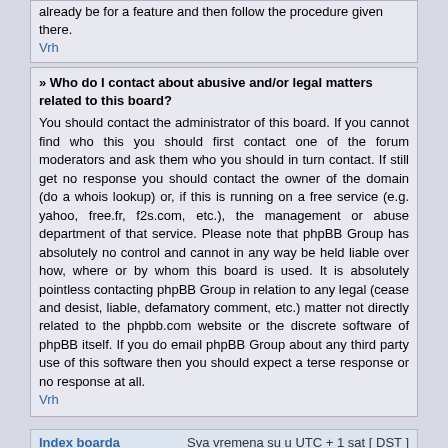already be for a feature and then follow the procedure given there.
Vrh
» Who do I contact about abusive and/or legal matters related to this board?
You should contact the administrator of this board. If you cannot find who this you should first contact one of the forum moderators and ask them who you should in turn contact. If still get no response you should contact the owner of the domain (do a whois lookup) or, if this is running on a free service (e.g. yahoo, free.fr, f2s.com, etc.), the management or abuse department of that service. Please note that phpBB Group has absolutely no control and cannot in any way be held liable over how, where or by whom this board is used. It is absolutely pointless contacting phpBB Group in relation to any legal (cease and desist, liable, defamatory comment, etc.) matter not directly related to the phpbb.com website or the discrete software of phpBB itself. If you do email phpBB Group about any third party use of this software then you should expect a terse response or no response at all.
Vrh
Index boarda
Sva vremena su u UTC + 1 sat [ DST ]
Idi na:
Izaberite forum
Idi
POWERED_BY
Prevod - www.CyberCom.rs